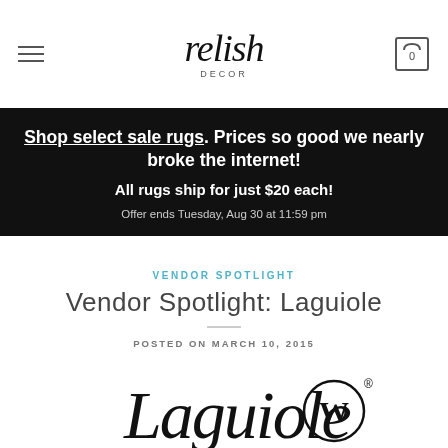relish DECOR
Shop select sale rugs. Prices so good we nearly broke the internet! All rugs ship for just $20 each! Offer ends Tuesday, Aug 30 at 11:59 pm
VENDOR SPOTLIGHT
Vendor Spotlight: Laguiole
POSTED ON MARCH 10, 2015
[Figure (logo): Laguiole brand logo with cursive script and circular W trademark symbol]